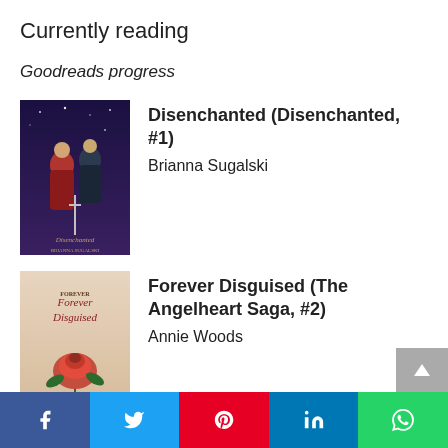Currently reading
Goodreads progress
[Figure (illustration): Book cover for Disenchanted (Disenchanted, #1) by Brianna Sugalski — dark fantasy cover with two figures and a sword]
Disenchanted (Disenchanted, #1)
Brianna Sugalski
[Figure (illustration): Book cover for Forever Disguised (The Angelheart Saga, #2) by Annie Woods — cover with roses]
Forever Disguised (The Angelheart Saga, #2)
Annie Woods
[Figure (illustration): Partial book cover for Kingdom of Ash (Throne of Glass, #7) by Sarah J. Maas — gold/yellow cover]
Kingdom of Ash (Throne of Gl...
Social share bar: Facebook, Twitter, Pinterest, LinkedIn, WhatsApp